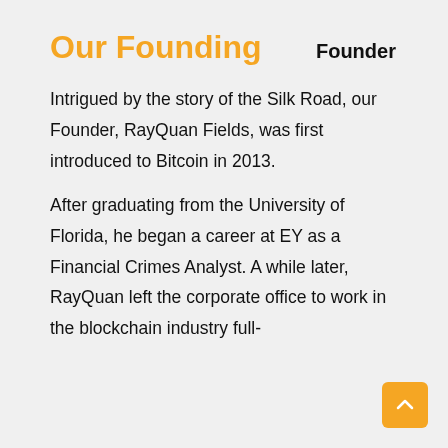Our Founding
Founder
Intrigued by the story of the Silk Road, our Founder, RayQuan Fields, was first introduced to Bitcoin in 2013.
After graduating from the University of Florida, he began a career at EY as a Financial Crimes Analyst. A while later, RayQuan left the corporate office to work in the blockchain industry full-